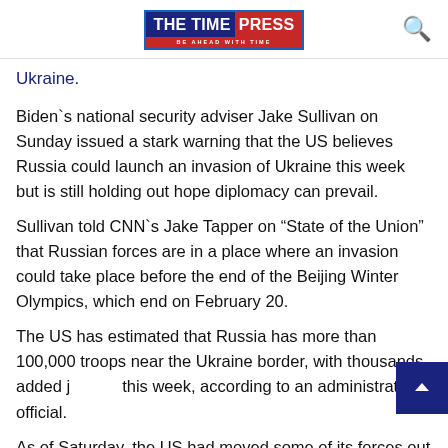[Figure (logo): The Time Press logo — blue and red rectangular logo with text 'THE TIME PRESS' and tagline 'BE AHEAD WITH TIME']
Ukraine.
Biden`s national security adviser Jake Sullivan on Sunday issued a stark warning that the US believes Russia could launch an invasion of Ukraine this week but is still holding out hope diplomacy can prevail.
Sullivan told CNN`s Jake Tapper on “State of the Union” that Russian forces are in a place where an invasion could take place before the end of the Beijing Winter Olympics, which end on February 20.
The US has estimated that Russia has more than 100,000 troops near the Ukraine border, with thousands added just this week, according to an administration official.
As of Saturday, the US had moved some of its forces out of